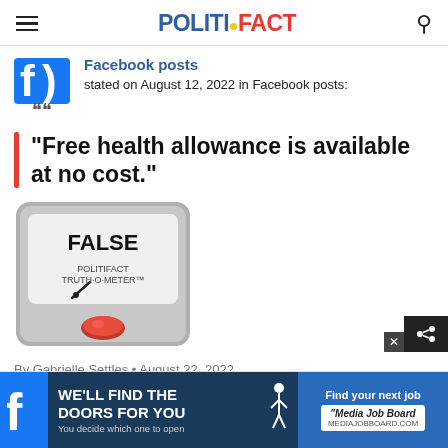POLITIFACT
Facebook posts stated on August 12, 2022 in Facebook posts:
“Free health allowance is available at no cost.”
[Figure (illustration): PolitiFact Truth-O-Meter gauge showing FALSE rating with red indicator light]
By Gabrielle Settles • August 22, 2022
[Figure (infographic): Advertisement banner: WE’LL FIND THE DOORS FOR YOU You decide which one to open | Find your next job Media Job Board]